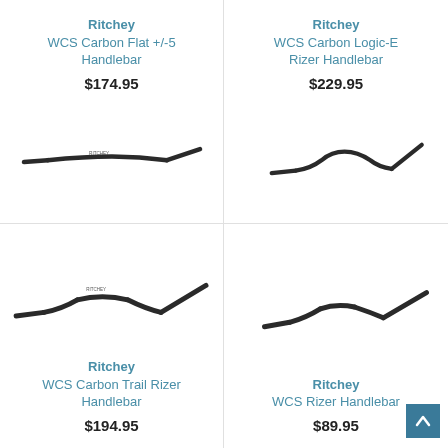Ritchey WCS Carbon Flat +/-5 Handlebar
$174.95
[Figure (photo): Ritchey WCS Carbon Flat +/-5 Handlebar product photo – dark carbon handlebar flat profile]
Ritchey WCS Carbon Logic-E Rizer Handlebar
$229.95
[Figure (photo): Ritchey WCS Carbon Logic-E Rizer Handlebar product photo – dark carbon riser handlebar]
[Figure (photo): Ritchey WCS Carbon Trail Rizer Handlebar product photo – dark carbon trail rizer handlebar]
Ritchey WCS Carbon Trail Rizer Handlebar
$194.95
[Figure (photo): Ritchey WCS Rizer Handlebar product photo – dark rizer handlebar]
Ritchey WCS Rizer Handlebar
$89.95